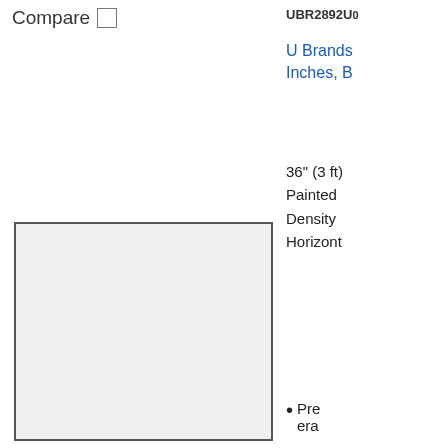Compare  UBR2892U0
U Brands  Inches, B  36" (3 ft)  Painted  Density  Horizont
[Figure (photo): White board product image placeholder - square with gray border]
Pre era
Hig res
[Figure (logo): UPS shipping logo badge]
Compare  UBR3021U0
U Brands
1.25" Dia  Pack - B
[Figure (photo): Black ribbed cylindrical magnet product image]
Ind